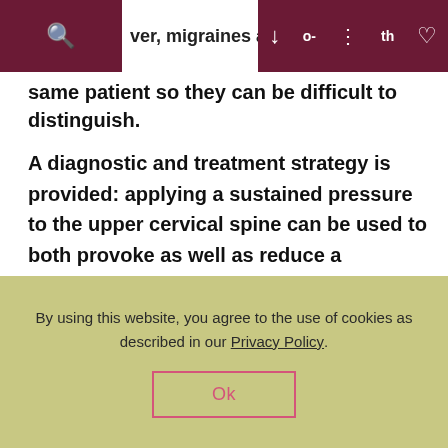...uted to causes from t...ver, migraines and CO...o-...th
same patient so they can be difficult to distinguish.
A diagnostic and treatment strategy is provided: applying a sustained pressure to the upper cervical spine can be used to both provoke as well as reduce a headache. In the cervical spine review of the subject of this particular case study, protraction of the upper cervical spine provoked, and
By using this website, you agree to the use of cookies as described in our Privacy Policy.
Ok